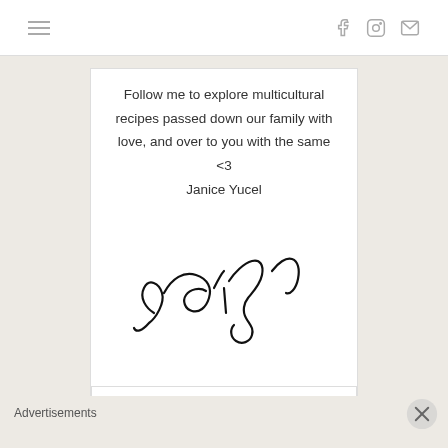Navigation header with hamburger menu and social icons (Facebook, Instagram, Email)
Follow me to explore multicultural recipes passed down our family with love, and over to you with the same <3 Janice Yucel
[Figure (illustration): Handwritten cursive signature reading 'Janice Yucel']
SUBSCRIBE & FOLLOW
[Figure (other): Two green circular social media follow buttons partially visible]
Advertisements